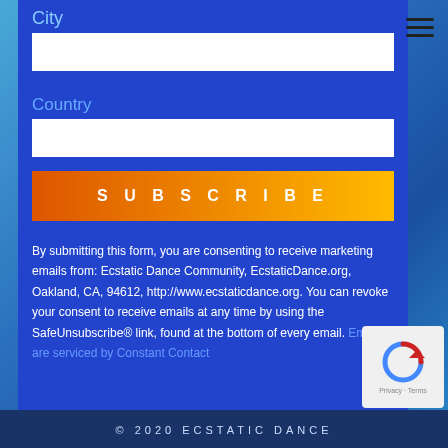City
Country
SUBSCRIBE
By submitting this form, you are consenting to receive marketing emails from: Ecstatic Dance Community, EcstaticDance.org, Oakland, CA, 94612, http://www.ecstaticdance.org. You can revoke your consent to receive emails at any time by using the SafeUnsubscribe® link, found at the bottom of every email. Emails are serviced by Constant Contact
© 2020 ECSTATIC DANCE